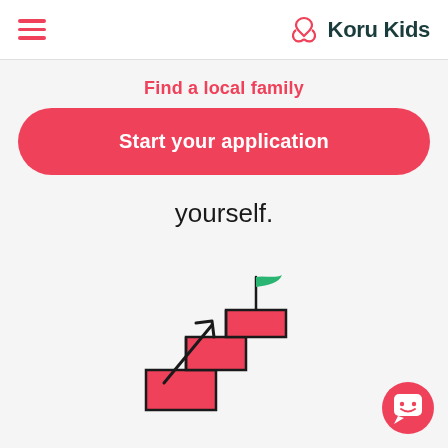Koru Kids
Find a local family
Start your application
yourself.
[Figure (illustration): Staircase illustration with an arrow pointing upward and a green flag on top, steps colored in red/coral]
[Figure (illustration): Chat/support button with a smiley face icon, pink circular button in bottom right corner]